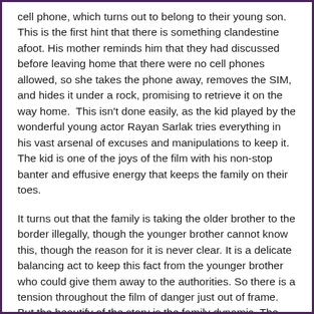cell phone, which turns out to belong to their young son. This is the first hint that there is something clandestine afoot. His mother reminds him that they had discussed before leaving home that there were no cell phones allowed, so she takes the phone away, removes the SIM, and hides it under a rock, promising to retrieve it on the way home.  This isn't done easily, as the kid played by the wonderful young actor Rayan Sarlak tries everything in his vast arsenal of excuses and manipulations to keep it. The kid is one of the joys of the film with his non-stop banter and effusive energy that keeps the family on their toes.
It turns out that the family is taking the older brother to the border illegally, though the younger brother cannot know this, though the reason for it is never clear. It is a delicate balancing act to keep this fact from the younger brother who could give them away to the authorities. So there is a tension throughout the film of danger just out of frame. But the beautify of the story is the family dynamic. The mother is trying her best not to break down over the impending loss of her son. The father who inhabits the back seat with his leg...